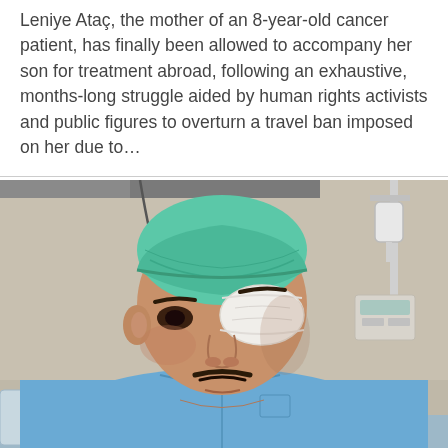Leniye Ataç, the mother of an 8-year-old cancer patient, has finally been allowed to accompany her son for treatment abroad, following an exhaustive, months-long struggle aided by human rights activists and public figures to overturn a travel ban imposed on her due to…
[Figure (photo): A middle-aged man wearing a blue hospital gown and a green surgical cap, with a white medical eye patch/bandage covering his right eye. He is seated in a hospital setting with medical equipment visible in the background.]